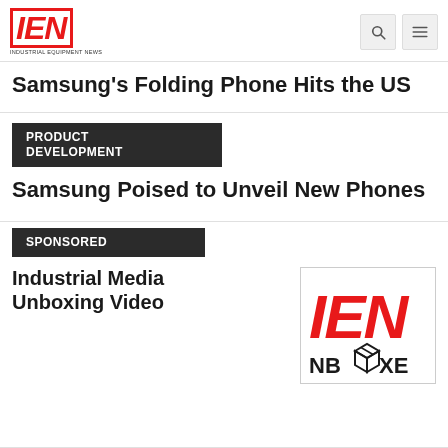IEN — Industrial Equipment News
Samsung's Folding Phone Hits the US
PRODUCT DEVELOPMENT
Samsung Poised to Unveil New Phones
SPONSORED
Industrial Media Unboxing Video
[Figure (logo): IEN Unboxe logo — red IEN letters with NBOXE text and box icon below]